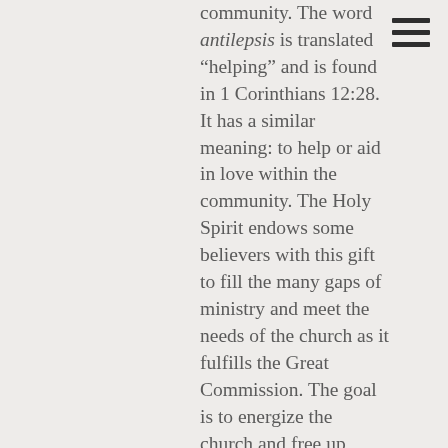community. The word antilepsis is translated “helping” and is found in 1 Corinthians 12:28. It has a similar meaning: to help or aid in love within the community. The Holy Spirit endows some believers with this gift to fill the many gaps of ministry and meet the needs of the church as it fulfills the Great Commission. The goal is to energize the church and free up others to use their gifts to the fullest. The result is the continued edification of the church and the added ability to see beyond its own needs and reach out into the community. We see people with this gift in passages like Acts 6:1-7, 1 Corinthians 16:15-16, and many others. Those with the gift of service are committed to the spread of the Gospel. They